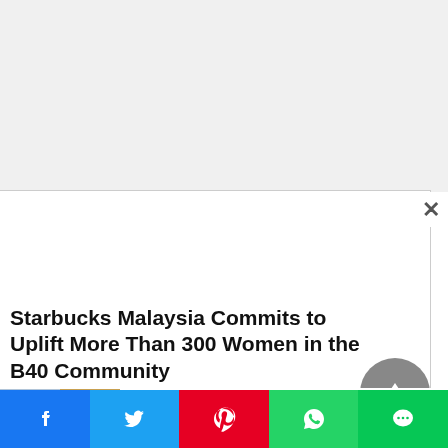[Figure (screenshot): White/grey background area at top of page, likely an advertisement or blank content area]
Starbucks Malaysia Commits to Uplift More Than 300 Women in the B40 Community
[Figure (photo): Thumbnail image showing buildings and food (durian) for related article 'DUKE FINE DURIAN HITS THE']
DUKE FINE DURIAN HITS THE
[Figure (infographic): Social share bar with Facebook, Twitter, Pinterest, WhatsApp, and LINE buttons at the bottom of the page]